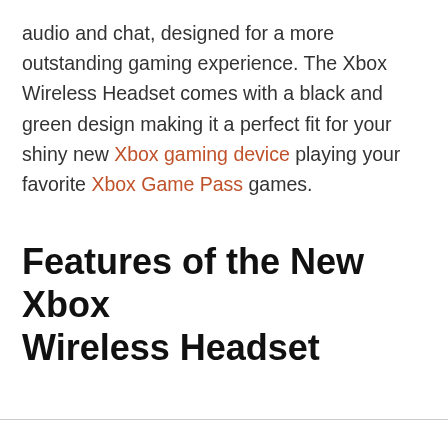audio and chat, designed for a more outstanding gaming experience. The Xbox Wireless Headset comes with a black and green design making it a perfect fit for your shiny new Xbox gaming device playing your favorite Xbox Game Pass games.
Features of the New Xbox Wireless Headset